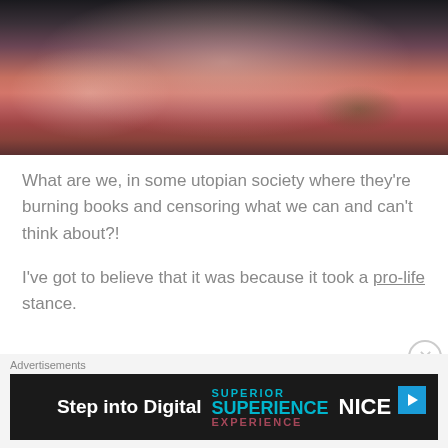[Figure (photo): A young woman with dark hair wearing a red tank top, holding a white polka-dotted item, photographed from the chest up against a dark background.]
What are we, in some utopian society where they’re burning books and censoring what we can and can’t think about?!
I’ve got to believe that it was because it took a pro-life stance.
Advertisements
[Figure (screenshot): Advertisement banner: Step into Digital SUPERIENCE NICE with a play button icon]